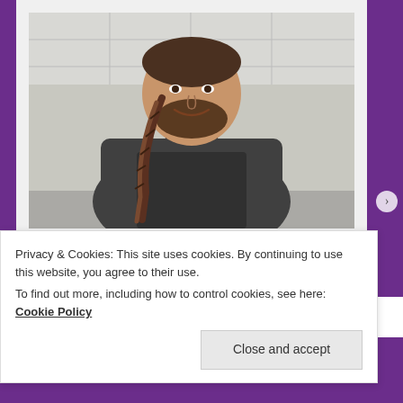[Figure (photo): A man with a long braid, wearing a dark gray shawl-collar sweater, smiling at the camera in what appears to be a kitchen setting.]
— Your future teacher, Cutter Videan.
As his final elective in the Barrett Honors College at
Privacy & Cookies: This site uses cookies. By continuing to use this website, you agree to their use.
To find out more, including how to control cookies, see here: Cookie Policy
Close and accept